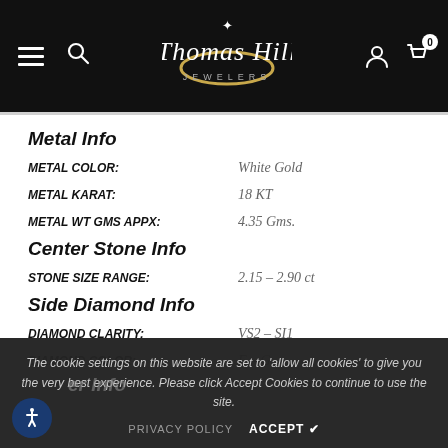Thomas Hill Jewelers — navigation bar
Metal Info
METAL COLOR: White Gold
METAL KARAT: 18 KT
METAL WT GMS APPX: 4.35 Gms.
Center Stone Info
STONE SIZE RANGE: 2.15 – 2.90 ct
Side Diamond Info
DIAMOND CLARITY: VS2 – SI1
DIAMOND COLOR: F – G
DIAMOND SHAPE: ROUND
# DIAMONDS APPX: 10
Other Info
The cookie settings on this website are set to 'allow all cookies' to give you the very best experience. Please click Accept Cookies to continue to use the site.
PRIVACY POLICY   ACCEPT ✓